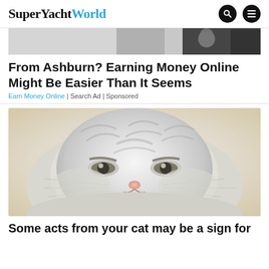SuperYachtWorld
[Figure (photo): Partial top image showing a person, cropped — advertisement image banner]
From Ashburn? Earning Money Online Might Be Easier Than It Seems
Earn Money Online | Search Ad | Sponsored
[Figure (photo): Close-up photo of a grumpy-looking fluffy cat with striped fur and squinting eyes]
Some acts from your cat may be a sign for